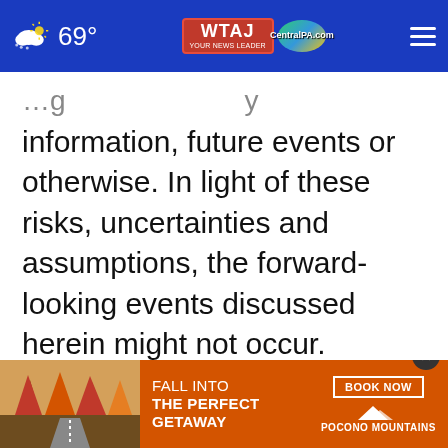69° WTAJ CentralPA.com
information, future events or otherwise. In light of these risks, uncertainties and assumptions, the forward-looking events discussed herein might not occur.
References to our Website Address
References to our website address and domain names throughout this release are for informational purposes only, or to fulfill specific disclosure requirements of the Securities and Exchange Commission and the New York
[Figure (infographic): Advertisement banner: Fall Into The Perfect Getaway - Book Now - Pocono Mountains]